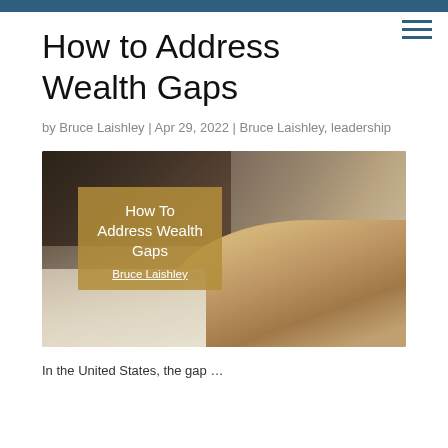How to Address Wealth Gaps
by Bruce Laishley | Apr 29, 2022 | Bruce Laishley, leadership
[Figure (photo): Person counting US dollar bills at a desk with headphones, mouse and phone visible. Overlaid golden box reads: How To Address Wealth Gaps, Bruce Laishley]
In the United States, the gap...